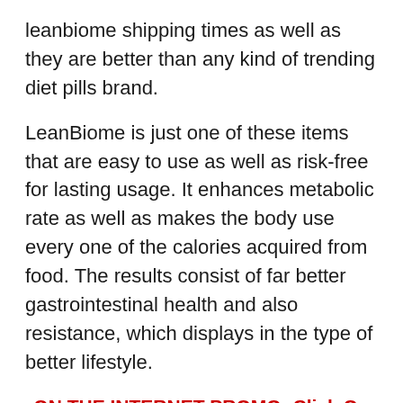leanbiome shipping times as well as they are better than any kind of trending diet pills brand.
LeanBiome is just one of these items that are easy to use as well as risk-free for lasting usage. It enhances metabolic rate as well as makes the body use every one of the calories acquired from food. The results consist of far better gastrointestinal health and also resistance, which displays in the type of better lifestyle.
ON THE INTERNET PROMO: Click On This Link to Purchase LeanBiome at the Lowest Rate Today
What is Inside the LeanBiome